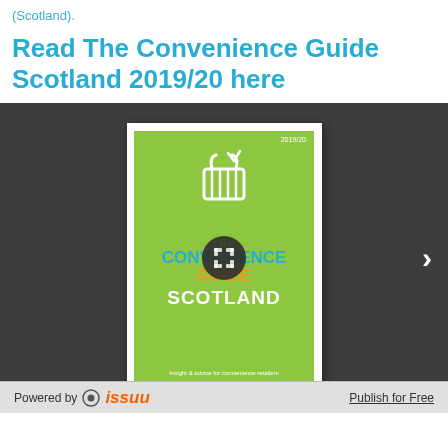(Scotland).
Read The Convenience Guide Scotland 2019/20 here
[Figure (screenshot): Issuu embedded viewer showing the cover of The Convenience Guide Scotland 2019/20. Green cover with shopping basket icon, title 'THE CONVENIENCE GUIDE SCOTLAND', tagline 'Insight & advice for convenience retailers'. Dark grey viewer background with a next arrow. Bottom bar: 'Powered by issuu' and 'Publish for Free'.]